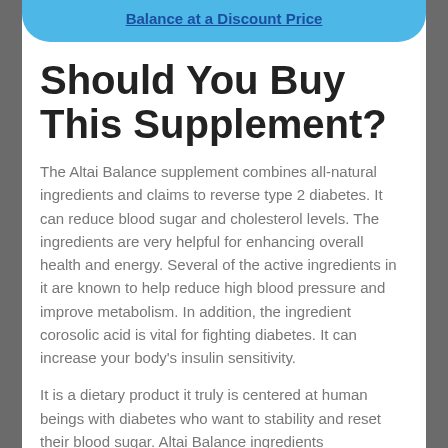Balance at a Discount Price
Should You Buy This Supplement?
The Altai Balance supplement combines all-natural ingredients and claims to reverse type 2 diabetes. It can reduce blood sugar and cholesterol levels. The ingredients are very helpful for enhancing overall health and energy. Several of the active ingredients in it are known to help reduce high blood pressure and improve metabolism. In addition, the ingredient corosolic acid is vital for fighting diabetes. It can increase your body's insulin sensitivity.
It is a dietary product it truly is centered at human beings with diabetes who want to stability and reset their blood sugar. Altai Balance ingredients...